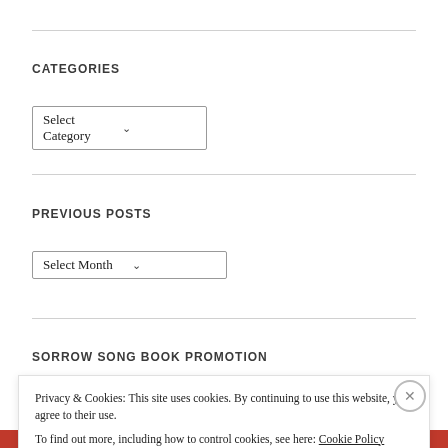CATEGORIES
Select Category ▾
PREVIOUS POSTS
Select Month ▾
SORROW SONG BOOK PROMOTION
Privacy & Cookies: This site uses cookies. By continuing to use this website, you agree to their use.
To find out more, including how to control cookies, see here: Cookie Policy
Close and accept